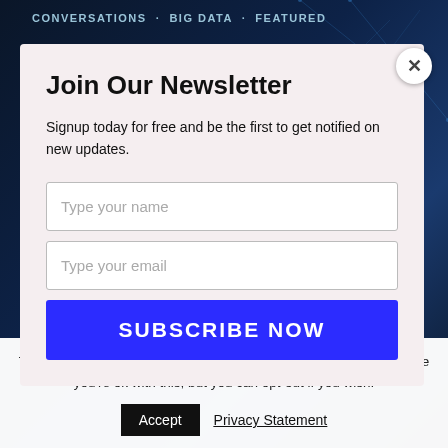CONVERSATIONS   BIG DATA   FEATURED
Join Our Newsletter
Signup today for free and be the first to get notified on new updates.
Type your name
Type your email
SUBSCRIBE NOW
This website uses cookies to improve your experience. We'll assume you're ok with this, but you can opt-out if you wish.
Accept
Privacy Statement